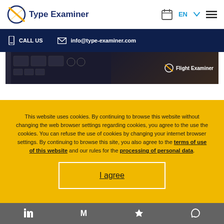Type Examiner — EN navigation header with calendar and menu icons
CALL US   info@type-examiner.com
[Figure (photo): Cockpit instrument panel photograph with Flight Examiner logo in bottom right]
This website uses cookies. By continuing to browse this website without changing the web browser settings regarding cookies, you agree to the use the cookies. You can refuse the use of cookies by changing your internet browser settings. By continuing to browse this site, you also agree to the terms of use of this website and our rules for the processing of personal data.
I agree
LinkedIn  Gmail  Star  WhatsApp social icons